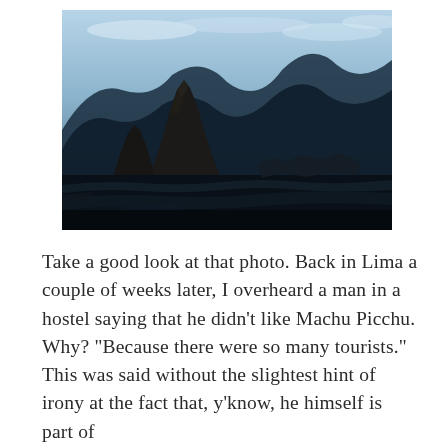[Figure (photo): A dramatic dark photograph of Machu Picchu at dawn or dusk. The iconic Huayna Picchu mountain peak rises against a pale blue sky with light clouds. The ruins terraces and stone structures are visible in deep shadow in the foreground and middle ground. The surrounding Andes mountains form a silhouette in the background.]
Take a good look at that photo. Back in Lima a couple of weeks later, I overheard a man in a hostel saying that he didn’t like Machu Picchu. Why? “Because there were so many tourists.” This was said without the slightest hint of irony at the fact that, y’know, he himself is part of